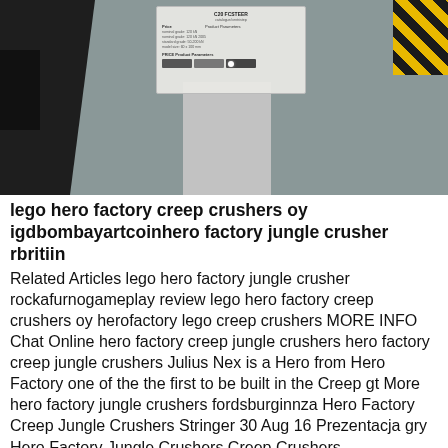[Figure (photo): Photo of an industrial or factory floor setting with a metallic pedestal/column holding a product information sign/placard. Dark machinery visible on the left, hazard stripes on the upper right, grey concrete floor.]
lego hero factory creep crushers oy igdbombayartcoinhero factory jungle crusher rbritiin
Related Articles lego hero factory jungle crusher rockafurnogameplay review lego hero factory creep crushers oy herofactory lego creep crushers MORE INFO Chat Online hero factory creep jungle crushers hero factory creep jungle crushers Julius Nex is a Hero from Hero Factory one of the the first to be built in the Creep gt More hero factory jungle crushers fordsburginnza Hero Factory Creep Jungle Crushers Stringer 30 Aug 16 Prezentacja gry Hero Factory Jungle Crushers Creep Crushers
⎡OBTENIR LE PRIX⎦